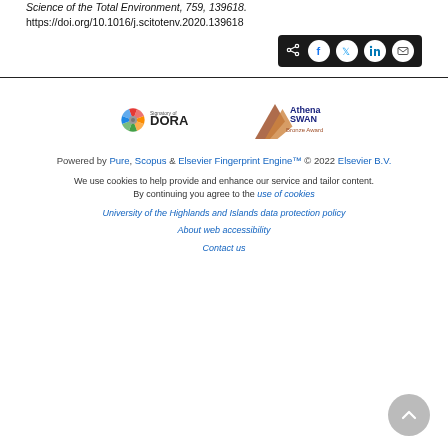Science of the Total Environment, 759, 139618. https://doi.org/10.1016/j.scitotenv.2020.139618
[Figure (other): Social share buttons bar (dark background) with share, Facebook, Twitter, LinkedIn, and email icons]
[Figure (logo): Signatory of DORA logo (colorful star/compass rose) and Athena SWAN Bronze Award logo]
Powered by Pure, Scopus & Elsevier Fingerprint Engine™ © 2022 Elsevier B.V.
We use cookies to help provide and enhance our service and tailor content. By continuing you agree to the use of cookies
University of the Highlands and Islands data protection policy
About web accessibility
Contact us